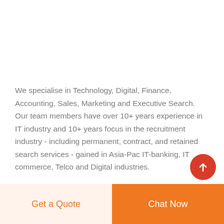We specialise in Technology, Digital, Finance, Accounting, Sales, Marketing and Executive Search. Our team members have over 10+ years experience in IT industry and 10+ years focus in the recruitment industry - including permanent, contract, and retained search services - gained in Asia-Pac IT-banking, IT commerce, Telco and Digital industries.
Get a Quote
Chat Now